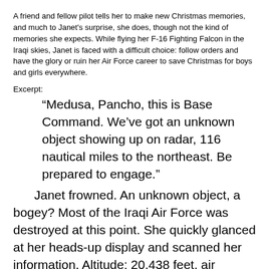A friend and fellow pilot tells her to make new Christmas memories, and much to Janet's surprise, she does, though not the kind of memories she expects. While flying her F-16 Fighting Falcon in the Iraqi skies, Janet is faced with a difficult choice: follow orders and have the glory or ruin her Air Force career to save Christmas for boys and girls everywhere.
Excerpt:
“Medusa, Pancho, this is Base Command. We’ve got an unknown object showing up on radar, 116 nautical miles to the northeast. Be prepared to engage.”
Janet frowned. An unknown object, a bogey? Most of the Iraqi Air Force was destroyed at this point. She quickly glanced at her heads-up display and scanned her information. Altitude: 20,438 feet, air speed: 424 mph, compass: east, bogey: check. Janet’s breath caught at the sight of the tiny dot on her HUD. What the hell? Where did he come from? She watched the moving dot and felt her